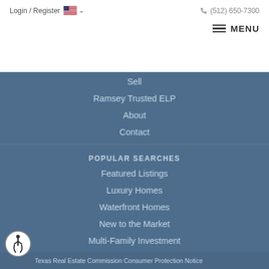Login / Register   (512) 650-7300   MENU
Sell
Ramsey Trusted ELP
About
Contact
POPULAR SEARCHES
Featured Listings
Luxury Homes
Waterfront Homes
New to the Market
Multi-Family Investment
Texas Real Estate Commission Consumer Protection Notice